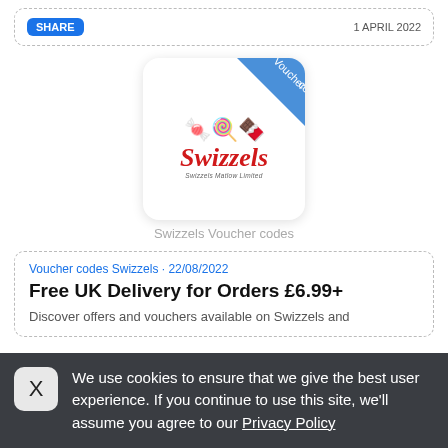[Figure (screenshot): Top partial card with share button and date, partially cropped at top]
[Figure (illustration): Swizzels voucher code image: white rounded card with blue diagonal ribbon banner reading 'Voucher code' and Swizzels candy brand logo in center]
Swizzels Voucher codes
Voucher codes Swizzels • 22/08/2022
Free UK Delivery for Orders £6.99+
Discover offers and vouchers available on Swizzels and
We use cookies to ensure that we give the best user experience. If you continue to use this site, we'll assume you agree to our Privacy Policy